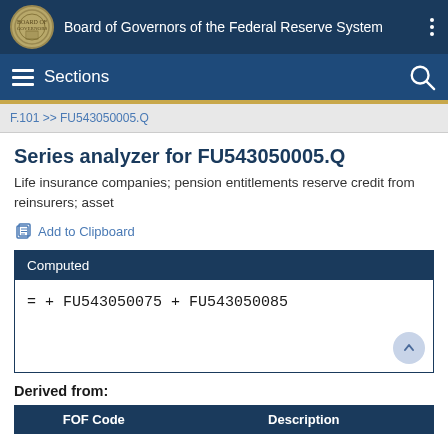Board of Governors of the Federal Reserve System
Sections
F.101 >> FU543050005.Q
Series analyzer for FU543050005.Q
Life insurance companies; pension entitlements reserve credit from reinsurers; asset
Add to Clipboard
Computed
Derived from:
| FOF Code | Description |
| --- | --- |